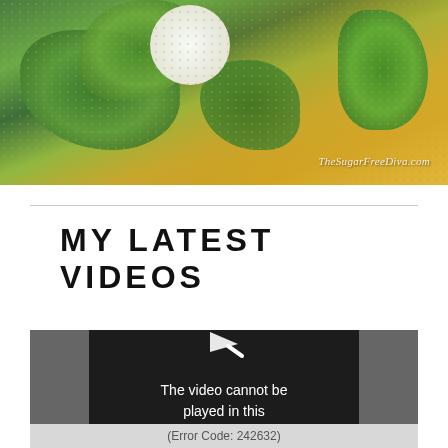[Figure (photo): Close-up food photo of a dish with green herbs/basil, creamy white element (egg or mozzarella), yellow-green sauce, and grated cheese. Watermark reads 'TheSugarFreeDiva.com' in italic script at bottom right.]
MY LATEST VIDEOS
[Figure (screenshot): Video player showing error message: 'The video cannot be played in this browser.' with a play arrow icon and error code '(Error Code: 242632)' in a light gray bar at the bottom.]